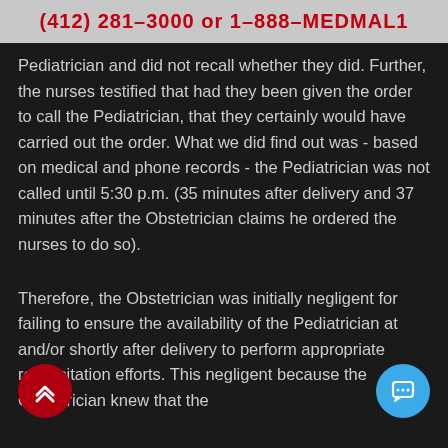(412) 281–3000 or 1–888–MEDMAL1
Pediatrician and did not recall whether they did. Further, the nurses testified that had they been given the order to call the Pediatrician, that they certainly would have carried out the order. What we did find out was - based on medical and phone records - the Pediatrician was not called until 5:30 p.m. (35 minutes after delivery and 37 minutes after the Obstetrician claims he ordered the nurses to do so).
Therefore, the Obstetrician was initially negligent for failing to ensure the availability of the Pediatrician at and/or shortly after delivery to perform appropriate resuscitation efforts. This negligent because the Obstetrician knew that the